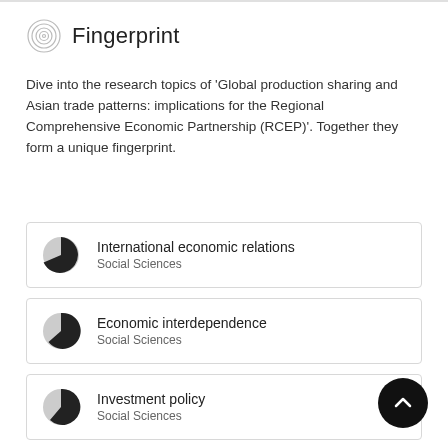Fingerprint
Dive into the research topics of 'Global production sharing and Asian trade patterns: implications for the Regional Comprehensive Economic Partnership (RCEP)'. Together they form a unique fingerprint.
International economic relations
Social Sciences
Economic interdependence
Social Sciences
Investment policy
Social Sciences
Economics
Social Sciences